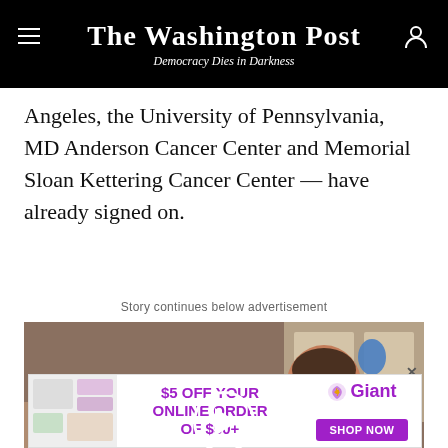The Washington Post — Democracy Dies in Darkness
Angeles, the University of Pennsylvania, MD Anderson Cancer Center and Memorial Sloan Kettering Cancer Center — have already signed on.
Story continues below advertisement
[Figure (photo): Video thumbnail showing a smiling woman holding purple Giant grocery bags in a kitchen, with a white play button overlay in the center.]
[Figure (infographic): Giant grocery advertisement banner: '$5 OFF YOUR ONLINE ORDER OF $50+' with Giant logo and 'SHOP NOW' button.]